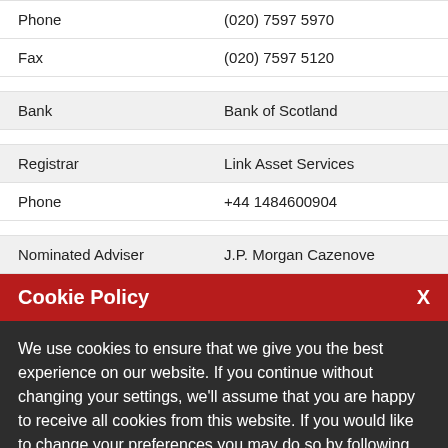| Phone | (020) 7597 5970 |
| Fax | (020) 7597 5120 |
| Bank | Bank of Scotland |
| Registrar | Link Asset Services |
| Phone | +44 1484600904 |
| Nominated Adviser | J.P. Morgan Cazenove |
Cookie Policy
We use cookies to ensure that we give you the best experience on our website. If you continue without changing your settings, we'll assume that you are happy to receive all cookies from this website. If you would like to change your preferences you may do so by following the instructions here.